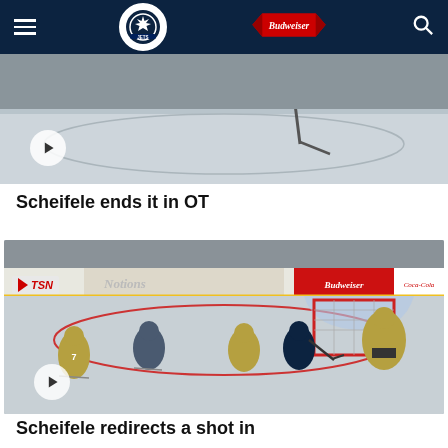Winnipeg Jets navigation bar with Budweiser logo
[Figure (screenshot): Hockey game video thumbnail showing ice surface with a hockey stick, play button overlay]
Scheifele ends it in OT
[Figure (screenshot): TSN broadcast screenshot of hockey game action: players near goal net, Budweiser and Coca-Cola rink board ads visible, Winnipeg Jets vs Vegas Golden Knights, play button overlay]
Scheifele redirects a shot in